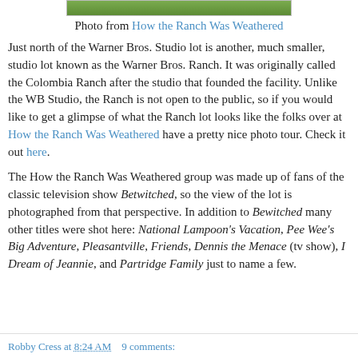[Figure (photo): Partial green landscape photo at the top of the page]
Photo from How the Ranch Was Weathered
Just north of the Warner Bros. Studio lot is another, much smaller, studio lot known as the Warner Bros. Ranch. It was originally called the Colombia Ranch after the studio that founded the facility. Unlike the WB Studio, the Ranch is not open to the public, so if you would like to get a glimpse of what the Ranch lot looks like the folks over at How the Ranch Was Weathered have a pretty nice photo tour. Check it out here.
The How the Ranch Was Weathered group was made up of fans of the classic television show Betwitched, so the view of the lot is photographed from that perspective. In addition to Bewitched many other titles were shot here: National Lampoon's Vacation, Pee Wee's Big Adventure, Pleasantville, Friends, Dennis the Menace (tv show), I Dream of Jeannie, and Partridge Family just to name a few.
Robby Cress at 8:24 AM   9 comments: